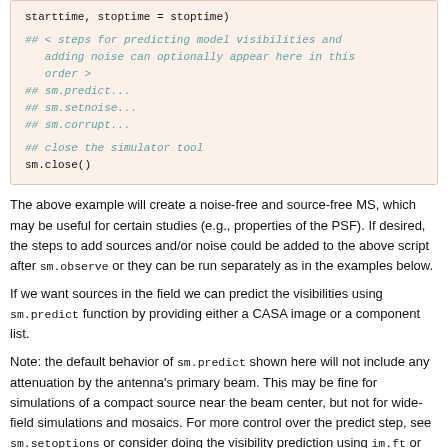[Figure (screenshot): Code block showing Python/CASA simulator script snippet with comments about predicting model visibilities and adding noise, and closing the simulator tool.]
The above example will create a noise-free and source-free MS, which may be useful for certain studies (e.g., properties of the PSF). If desired, the steps to add sources and/or noise could be added to the above script after sm.observe or they can be run separately as in the examples below.
If we want sources in the field we can predict the visibilities using sm.predict function by providing either a CASA image or a component list.
Note: the default behavior of sm.predict shown here will not include any attenuation by the antenna's primary beam. This may be fine for simulations of a compact source near the beam center, but not for wide-field simulations and mosaics. For more control over the predict step, see sm.setoptions or consider doing the visibility prediction using im.ft or tclean [external link].